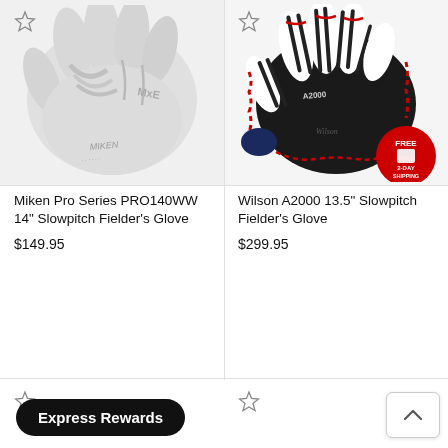[Figure (photo): Miken Pro Series white softball fielder's glove, shown from palm side]
[Figure (photo): Wilson A2000 13.5 inch black and white slowpitch fielder's glove with red lacing and free two-day shipping badge]
Miken Pro Series PRO140WW 14" Slowpitch Fielder's Glove
$149.95
Wilson A2000 13.5" Slowpitch Fielder's Glove
$299.95
Express Rewards